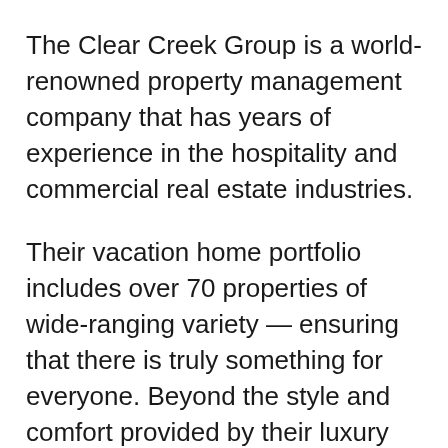The Clear Creek Group is a world-renowned property management company that has years of experience in the hospitality and commercial real estate industries.
Their vacation home portfolio includes over 70 properties of wide-ranging variety — ensuring that there is truly something for everyone. Beyond the style and comfort provided by their luxury rental home options, The Clear Creek Group's team of concierge's are prepared to